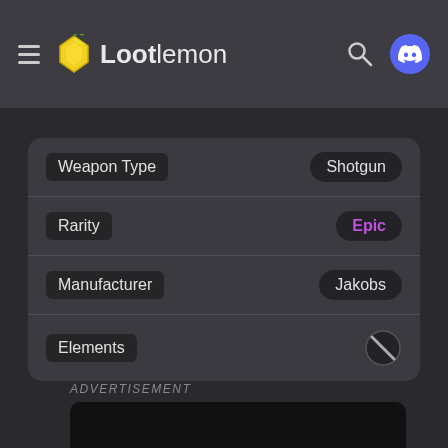Lootlemon
| Property | Value |
| --- | --- |
| Weapon Type | Shotgun |
| Rarity | Epic |
| Manufacturer | Jakobs |
| Elements | — |
ADVERTISEMENT